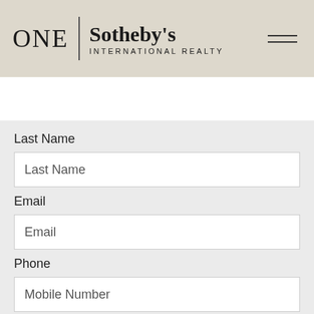ONE | Sotheby's INTERNATIONAL REALTY
Search by City, Neighborhood, ZIP, Address,
Last Name
Last Name
Email
Email
Phone
Mobile Number
Comments